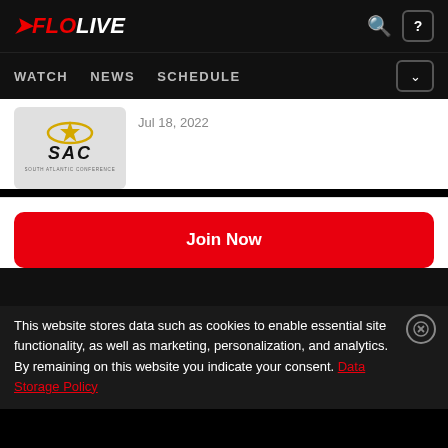FLOLIVE — WATCH  NEWS  SCHEDULE
[Figure (logo): SAC (South Atlantic Conference) logo on a light grey card, showing a star and bold italic 'SAC' text]
Jul 18, 2022
Join Now
This website stores data such as cookies to enable essential site functionality, as well as marketing, personalization, and analytics. By remaining on this website you indicate your consent. Data Storage Policy